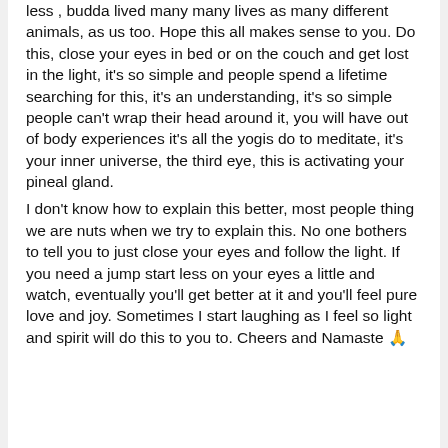less , budda lived many many lives as many different animals, as us too. Hope this all makes sense to you. Do this, close your eyes in bed or on the couch and get lost in the light, it's so simple and people spend a lifetime searching for this, it's an understanding, it's so simple people can't wrap their head around it, you will have out of body experiences it's all the yogis do to meditate, it's your inner universe, the third eye, this is activating your pineal gland.
I don't know how to explain this better, most people thing we are nuts when we try to explain this. No one bothers to tell you to just close your eyes and follow the light. If you need a jump start less on your eyes a little and watch, eventually you'll get better at it and you'll feel pure love and joy. Sometimes I start laughing as I feel so light and spirit will do this to you to. Cheers and Namaste 🙏